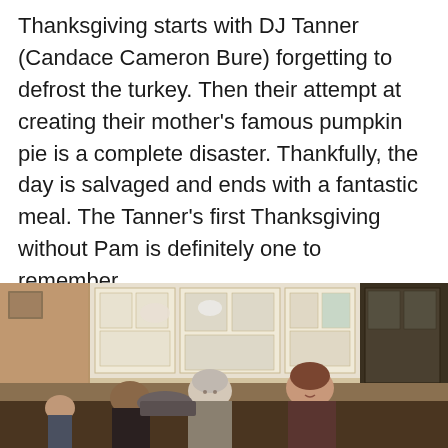Thanksgiving starts with DJ Tanner (Candace Cameron Bure) forgetting to defrost the turkey. Then their attempt at creating their mother's famous pumpkin pie is a complete disaster. Thankfully, the day is salvaged and ends with a fantastic meal. The Tanner's first Thanksgiving without Pam is definitely one to remember.
[Figure (photo): A scene from Fuller House showing characters in a kitchen. Several people including an older woman and younger characters are gathered in a warmly lit kitchen with white cabinets and shelves stocked with dishes and food items.]